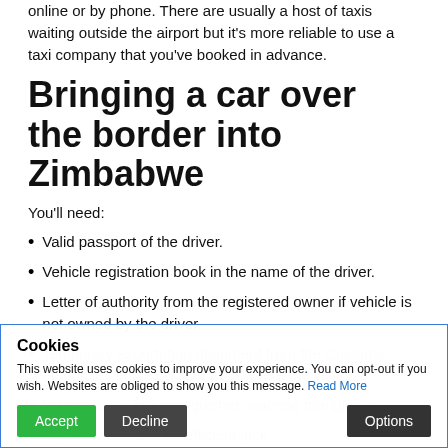online or by phone. There are usually a host of taxis waiting outside the airport but it's more reliable to use a taxi company that you've booked in advance.
Bringing a car over the border into Zimbabwe
You'll need:
Valid passport of the driver.
Vehicle registration book in the name of the driver.
Letter of authority from the registered owner if vehicle is not owned by the driver.
Temporary exportation document from the Customs authorities in the country from where the visitor is
In your car: a fire extinguisher, warning triangles, a
spare wheel and an efficient jack
Cookies
This website uses cookies to improve your experience. You can opt-out if you wish. Websites are obliged to show you this message. Read More